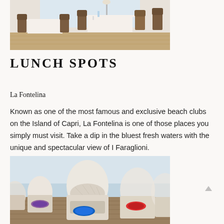[Figure (photo): Indoor restaurant dining area with white tablecloths and brown chairs on a wooden floor]
LUNCH SPOTS
La Fontelina
Known as one of the most famous and exclusive beach clubs on the Island of Capri, La Fontelina is one of those places you simply must visit. Take a dip in the bluest fresh waters with the unique and spectacular view of I Faraglioni.
[Figure (photo): Row of white wicker pod-style beach beds/sunbeds on a wooden deck by the sea at La Fontelina beach club on Capri]